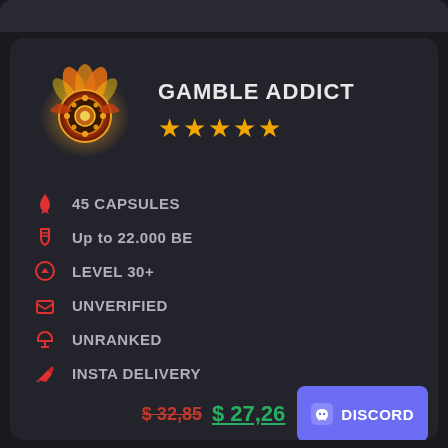GAMBLE ADDICT
★★★★★
45 CAPSULES
Up to 22.000 BE
LEVEL 30+
UNVERIFIED
UNRANKED
INSTA DELIVERY
$ 32,85  $ 27,26
DISCORD